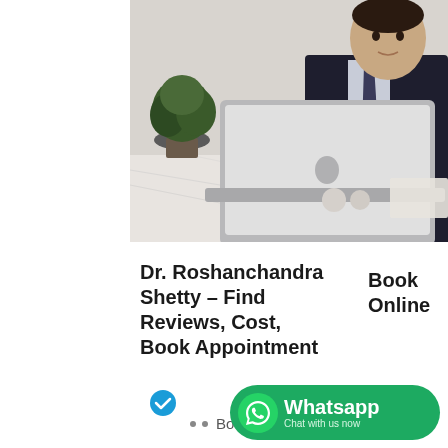[Figure (photo): Doctor (Dr. Roshanchandra Shetty) in dark suit sitting behind a marble desk with an Apple MacBook laptop open in front of him, and a potted plant on the left side of the desk.]
Dr. Roshanchandra Shetty – Find Reviews, Cost, Book Appointment
Book Online
[Figure (other): Blue circular checkmark / verified badge icon]
BodyTite
[Figure (logo): WhatsApp Chat with us now button — green rounded rectangle with WhatsApp logo on left, text 'Whatsapp' in white bold and 'Chat with us now' in lighter smaller text.]